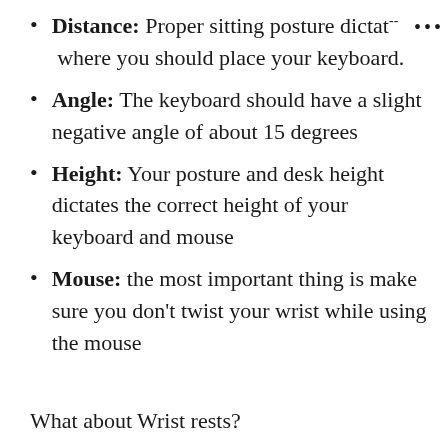Distance: Proper sitting posture dictates where you should place your keyboard.
Angle: The keyboard should have a slight negative angle of about 15 degrees
Height: Your posture and desk height dictates the correct height of your keyboard and mouse
Mouse: the most important thing is make sure you don't twist your wrist while using the mouse
What about Wrist rests?